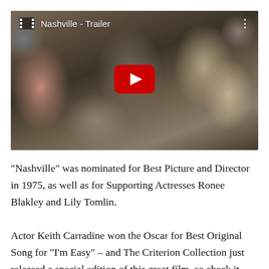[Figure (screenshot): YouTube video thumbnail for Nashville - Trailer showing a crowd of people from a 1970s film scene, with a red YouTube play button in the center and the title 'Nashville - Trailer' in the top-left corner with a film icon.]
“Nashville” was nominated for Best Picture and Director in 1975, as well as for Supporting Actresses Ronee Blakley and Lily Tomlin.
Actor Keith Carradine won the Oscar for Best Original Song for “I’m Easy” – and The Criterion Collection just released a special edition of this great film, so check it out!